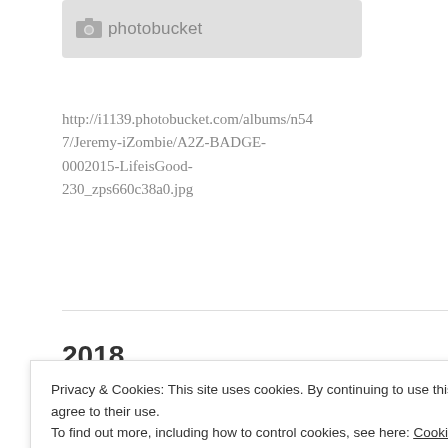[Figure (logo): Photobucket logo in a grey rounded rectangle box showing a camera icon and the text 'photobucket']
http://i1139.photobucket.com/albums/n547/Jeremy-iZombie/A2Z-BADGE-0002015-LifeisGood-230_zps660c38a0.jpg
[Figure (other): Partial view of a red and teal A2Z badge image]
2018
Privacy & Cookies: This site uses cookies. By continuing to use this website, you agree to their use.
To find out more, including how to control cookies, see here: Cookie Policy
Close and accept